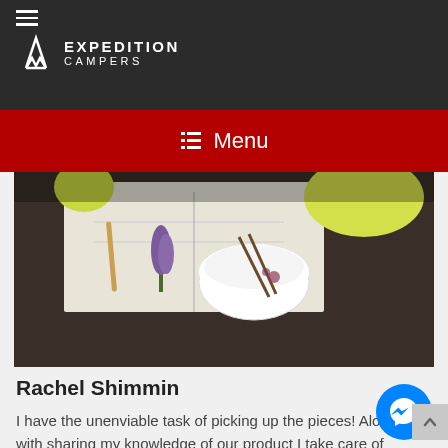Expedition Campers
Menu
[Figure (photo): Top-down photo of a table scene with a white bowl with chopsticks, purple flower, papers, and yellow cloth]
Rachel Shimmin
I have the unenviable task of picking up the pieces! Along with sharing my knowledge of our product I take care of the paperwork (not Ben's strong point!)